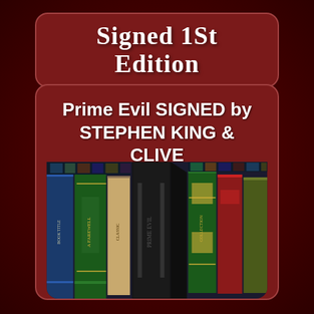[Figure (illustration): Decorative background of red roses covering the entire page background.]
Signed 1St Edition
Prime Evil SIGNED by STEPHEN KING & CLIVE BARKER & 13 OTHERS Hardback 1/1000
[Figure (photo): Photo of a shelf of ornate leather-bound books including a tall black book standing upright in the center.]